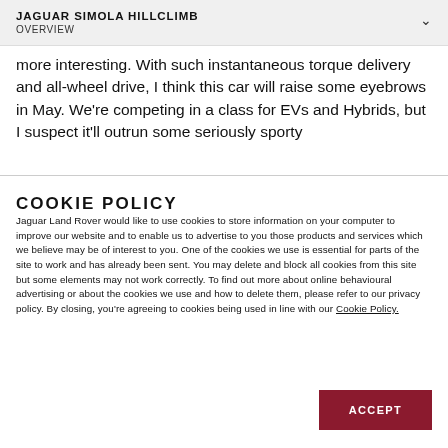JAGUAR SIMOLA HILLCLIMB
OVERVIEW
more interesting. With such instantaneous torque delivery and all-wheel drive, I think this car will raise some eyebrows in May. We're competing in a class for EVs and Hybrids, but I suspect it'll outrun some seriously sporty
COOKIE POLICY
Jaguar Land Rover would like to use cookies to store information on your computer to improve our website and to enable us to advertise to you those products and services which we believe may be of interest to you. One of the cookies we use is essential for parts of the site to work and has already been sent. You may delete and block all cookies from this site but some elements may not work correctly. To find out more about online behavioural advertising or about the cookies we use and how to delete them, please refer to our privacy policy. By closing, you're agreeing to cookies being used in line with our Cookie Policy.